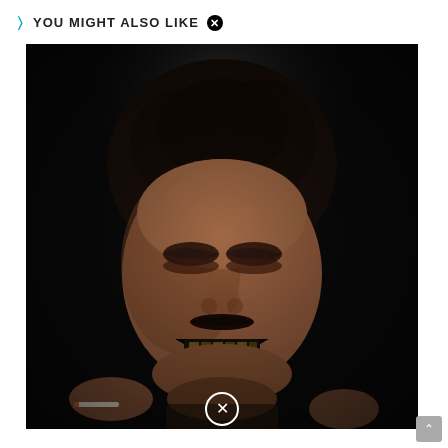> YOU MIGHT ALSO LIKE
[Figure (photo): Close-up photograph of a young man with curly dark hair, eyes closed, smiling broadly showing dark/gold grille teeth, holding what appears to be a cigarette in one hand, photographed against a very dark/black background with dramatic lighting. A circular close icon appears at the bottom center of the image.]